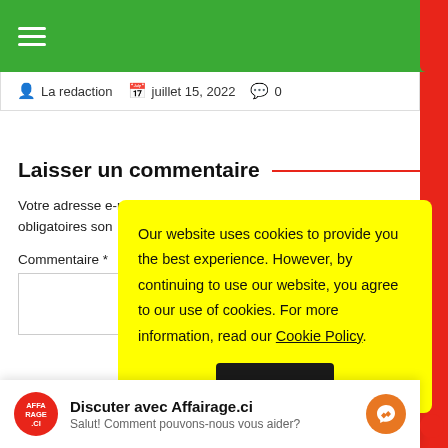☰
La redaction   juillet 15, 2022   0
Laisser un commentaire
Votre adresse e-mail ne sera pas publiée. Les champs obligatoires son
Commentaire *
Our website uses cookies to provide you the best experience. However, by continuing to use our website, you agree to our use of cookies. For more information, read our Cookie Policy.
Discuter avec Affairage.ci
Salut! Comment pouvons-nous vous aider?